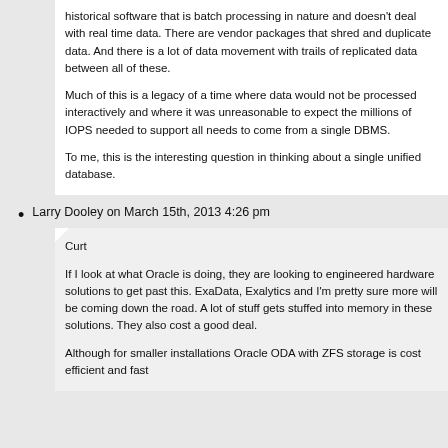historical software that is batch processing in nature and doesn't deal with real time data. There are vendor packages that shred and duplicate data. And there is a lot of data movement with trails of replicated data between all of these.
Much of this is a legacy of a time where data would not be processed interactively and where it was unreasonable to expect the millions of IOPS needed to support all needs to come from a single DBMS.
To me, this is the interesting question in thinking about a single unified database.
Larry Dooley on March 15th, 2013 4:26 pm
Curt
If I look at what Oracle is doing, they are looking to engineered hardware solutions to get past this. ExaData, Exalytics and I'm pretty sure more will be coming down the road. A lot of stuff gets stuffed into memory in these solutions. They also cost a good deal.
Although for smaller installations Oracle ODA with ZFS storage is cost efficient and fast